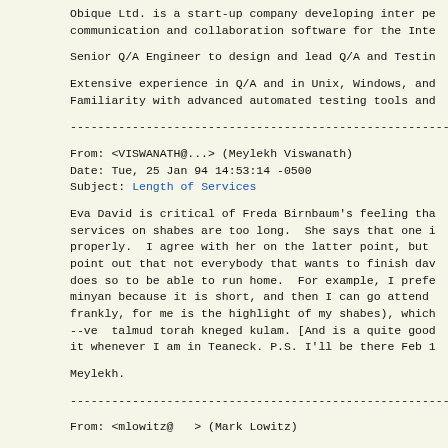Obique Ltd. is a start-up company developing inter personal communication and collaboration software for the Internet.
Senior Q/A Engineer to design and lead Q/A and Testing...
Extensive experience in Q/A and in Unix, Windows, and...
Familiarity with advanced automated testing tools and...
------------------------------------------------------------------------
From: <VISWANATH@...> (Meylekh Viswanath)
Date: Tue, 25 Jan 94 14:53:14 -0500
Subject: Length of Services
Eva David is critical of Freda Birnbaum's feeling that services on shabes are too long.  She says that one is properly.  I agree with her on the latter point, but point out that not everybody that wants to finish dav does so to be able to run home.  For example, I prefer minyan because it is short, and then I can go attend frankly, for me is the highlight of my shabes), which --ve  talmud torah kneged kulam. [And is a quite good it whenever I am in Teaneck. P.S. I'll be there Feb 1
Meylekh.
------------------------------------------------------------------------
From: <mlowitz@   > (Mark Lowitz)